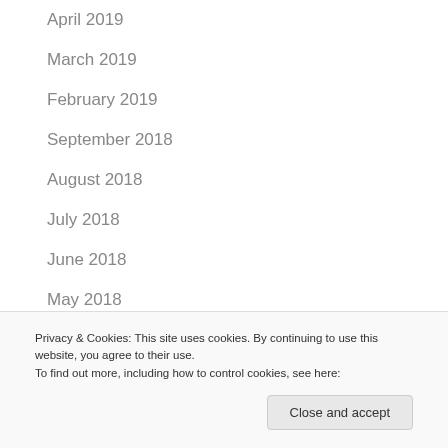April 2019
March 2019
February 2019
September 2018
August 2018
July 2018
June 2018
May 2018
Privacy & Cookies: This site uses cookies. By continuing to use this website, you agree to their use.
To find out more, including how to control cookies, see here:
August 2017